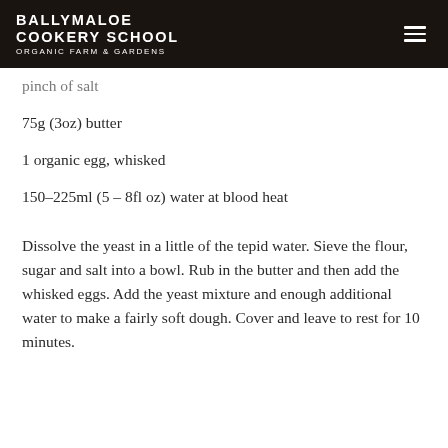BALLYMALOE COOKERY SCHOOL ORGANIC FARM & GARDENS
pinch of salt
75g (3oz) butter
1 organic egg, whisked
150–225ml (5 – 8fl oz) water at blood heat
Dissolve the yeast in a little of the tepid water. Sieve the flour, sugar and salt into a bowl. Rub in the butter and then add the whisked eggs. Add the yeast mixture and enough additional water to make a fairly soft dough. Cover and leave to rest for 10 minutes.